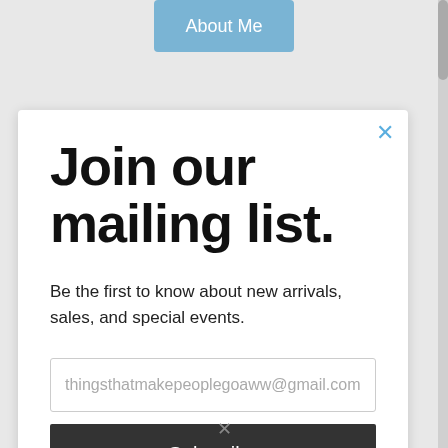[Figure (screenshot): Blue 'About Me' button at the top center of the page]
Join our mailing list.
Be the first to know about new arrivals, sales, and special events.
thingsthatmakepeoplegoaww@gmail.com (email input placeholder)
Subscribe (button)